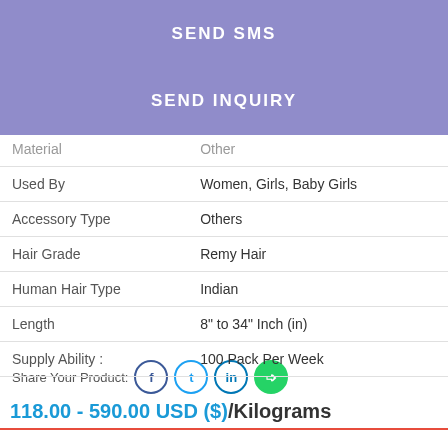SEND SMS
SEND INQUIRY
Product Details:
Product Type
| Material | Other |
| Used By | Women, Girls, Baby Girls |
| Accessory Type | Others |
| Hair Grade | Remy Hair |
| Human Hair Type | Indian |
| Length | 8" to 34" Inch (in) |
| Supply Ability : | 100 Pack Per Week |
Share Your Product:
118.00 - 590.00 USD ($)/Kilograms
Get a Price/Quote